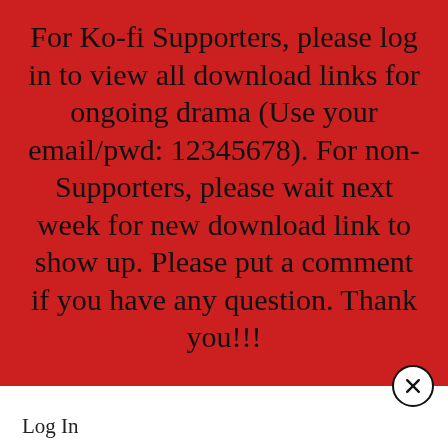For Ko-fi Supporters, please log in to view all download links for ongoing drama (Use your email/pwd: 12345678). For non-Supporters, please wait next week for new download link to show up. Please put a comment if you have any question. Thank you!!!
Log In
Please log into the site.
Username